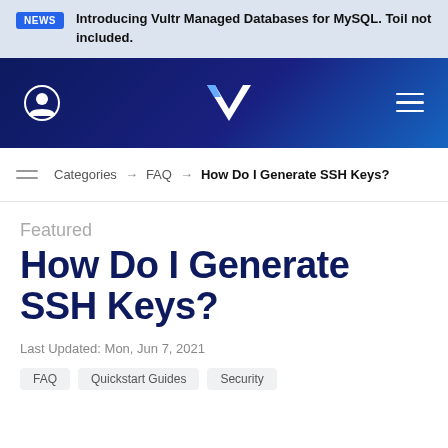NEWS Introducing Vultr Managed Databases for MySQL. Toil not included.
[Figure (screenshot): Vultr navigation bar with user icon, Vultr logo (V), and hamburger menu on dark blue gradient background]
Categories → FAQ → How Do I Generate SSH Keys?
Featured
How Do I Generate SSH Keys?
Last Updated: Mon, Jun 7, 2021
FAQ  Quickstart Guides  Security